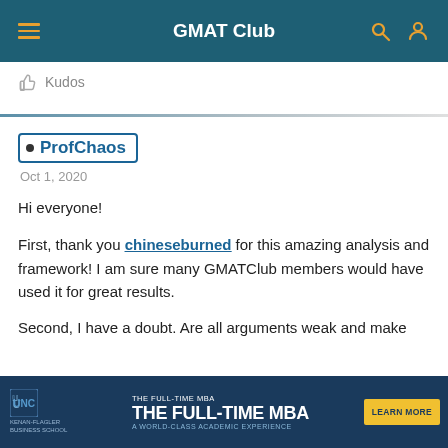GMAT Club
Kudos
ProfChaos
Oct 1, 2020
Hi everyone!

First, thank you chineseburned for this amazing analysis and framework! I am sure many GMATClub members would have used it for great results.

Second, I have a doubt. Are all arguments weak and make
[Figure (screenshot): UNC Kenan-Flagler Business School advertisement: THE FULL-TIME MBA - A WORLD-CLASS ACADEMIC EXPERIENCE with LEARN MORE button]